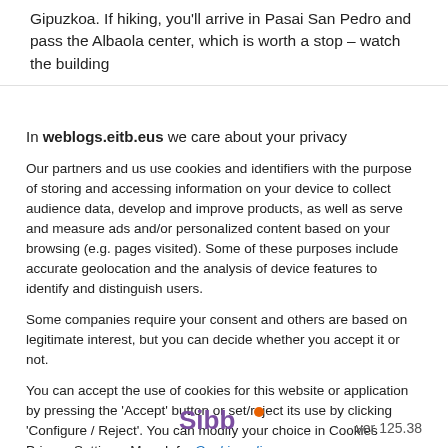Gipuzkoa. If hiking, you'll arrive in Pasai San Pedro and pass the Albaola center, which is worth a stop – watch the building f...
In weblogs.eitb.eus we care about your privacy
Our partners and us use cookies and identifiers with the purpose of storing and accessing information on your device to collect audience data, develop and improve products, as well as serve and measure ads and/or personalized content based on your browsing (e.g. pages visited). Some of these purposes include accurate geolocation and the analysis of device features to identify and distinguish users.
Some companies require your consent and others are based on legitimate interest, but you can decide whether you accept it or not.
You can accept the use of cookies for this website or application by pressing the 'Accept' button or set/reject its use by clicking 'Configure / Reject'. You can modify your choice in Cookies Privacy Settings. More Info. Cookie policy.
Accept
More options
See list of partners
[Figure (logo): Sibb logo with purple text and orange circle superscript]
ver 125.38